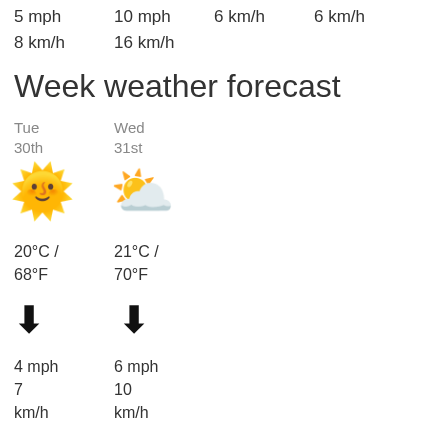5 mph   10 mph   6 km/h   6 km/h
8 km/h   16 km/h
Week weather forecast
Tue
30th
Wed
31st
[Figure (illustration): Sun emoji icon for Tuesday]
[Figure (illustration): Partly cloudy sun emoji icon for Wednesday]
20°C /
68°F
21°C /
70°F
[Figure (illustration): Downward arrow wind direction icon for Tuesday]
[Figure (illustration): Downward arrow wind direction icon for Wednesday]
4 mph
7
km/h
6 mph
10
km/h